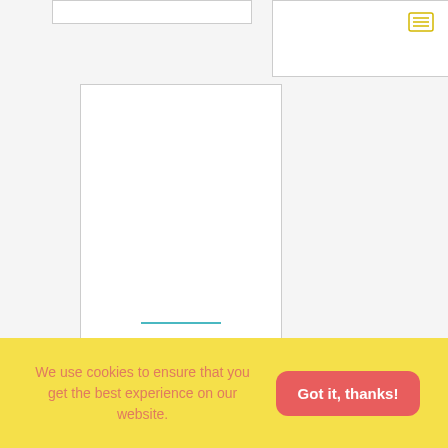[Figure (other): Top left card outline (partial, cropped at top)]
[Figure (other): Top right card with yellow menu icon (three horizontal lines)]
[Figure (other): Main white book/flashcard cover with teal divider line and bold uppercase title text: PILATES CADILLAC-TOWER FLASHCARDS BY]
PILATES CADILLAC-TOWER FLASHCARDS BY
We use cookies to ensure that you get the best experience on our website.
Got it, thanks!